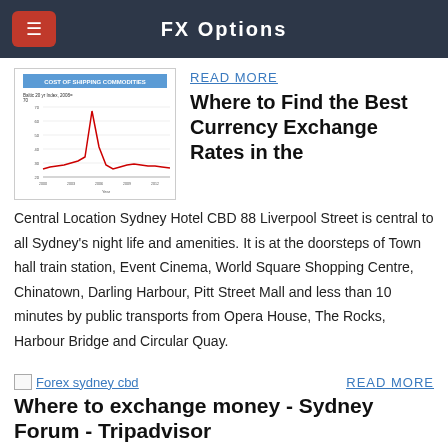FX Options
[Figure (continuous-plot): Line chart titled 'COST OF SHIPPING COMMODITIES' showing Baltic dry index (2002=100), with a large spike around 2008 and lower values in other years. Red line on white background with gridlines.]
READ MORE
Where to Find the Best Currency Exchange Rates in the
Central Location Sydney Hotel CBD 88 Liverpool Street is central to all Sydney's night life and amenities. It is at the doorsteps of Town hall train station, Event Cinema, World Square Shopping Centre, Chinatown, Darling Harbour, Pitt Street Mall and less than 10 minutes by public transports from Opera House, The Rocks, Harbour Bridge and Circular Quay.
[Figure (other): Small broken image placeholder labeled 'Forex sydney cbd']
READ MORE
Where to exchange money - Sydney Forum - Tripadvisor
I have used several of Cynthia's previous systems but I think,